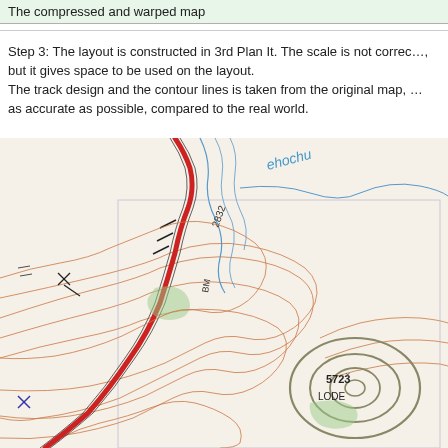The compressed and warped map
Step 3: The layout is constructed in 3rd Plan It. The scale is not correct, but it gives space to be used on the layout.
The track design and the contour lines is taken from the original map, to make it as accurate as possible, compared to the real world.
[Figure (map): A topographic orienteering map showing contour lines, a red track/road feature running diagonally, blue water features, and circular contour features. Text labels visible include 'ehochu', '2832', 'BM', '5723', 'LODE'. The map includes a rectangular overlay grid and various terrain markings.]